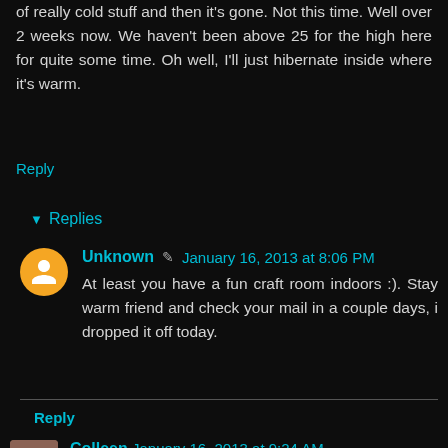of really cold stuff and then it's gone. Not this time. Well over 2 weeks now. We haven't been above 25 for the high here for quite some time. Oh well, I'll just hibernate inside where it's warm.
Reply
▼ Replies
Unknown ✎ January 16, 2013 at 8:06 PM
At least you have a fun craft room indoors :). Stay warm friend and check your mail in a couple days, i dropped it off today.
Reply
Colleen January 16, 2013 at 9:24 AM
Unlike the rest of you it has been unseasonably warm here and we are looking at our 5th day in a row flirty with 80 degrees. The oak trees are starting to shed their leaves with the new growth right behind them (this is normally